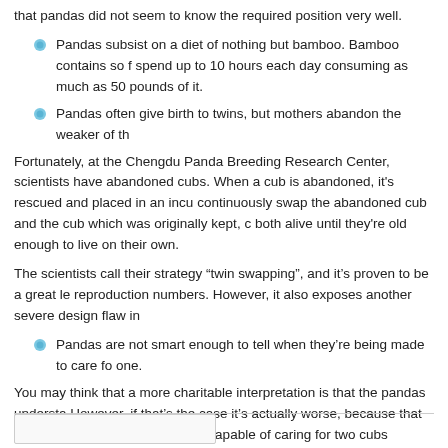that pandas did not seem to know the required position very well.
Pandas subsist on a diet of nothing but bamboo. Bamboo contains so few nutrients that they spend up to 10 hours each day consuming as much as 50 pounds of it.
Pandas often give birth to twins, but mothers abandon the weaker of the
Fortunately, at the Chengdu Panda Breeding Research Center, scientists have abandoned cubs. When a cub is abandoned, it's rescued and placed in an incubator. They continuously swap the abandoned cub and the cub which was originally kept, both alive until they're old enough to live on their own.
The scientists call their strategy “twin swapping”, and it’s proven to be a great le reproduction numbers. However, it also exposes another severe design flaw in
Pandas are not smart enough to tell when they're being made to care for one.
You may think that a more charitable interpretation is that the pandas understa However, if that's the case it's actually worse, because that would boil down to know they’re capable of caring for two cubs instead of one”.
It really seems like pandas were just not designed to be in it for the long haul.